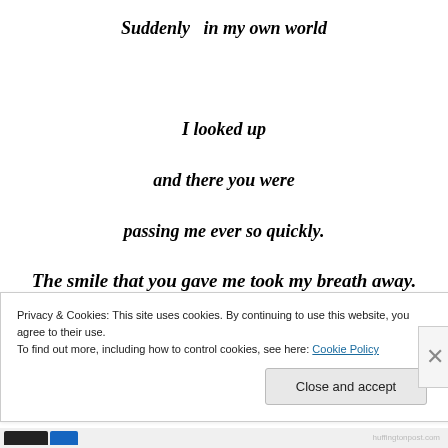Suddenly  in my own world
I looked up
and there you were
passing me ever so quickly.
The smile that you gave me took my breath away.
Privacy & Cookies: This site uses cookies. By continuing to use this website, you agree to their use.
To find out more, including how to control cookies, see here: Cookie Policy